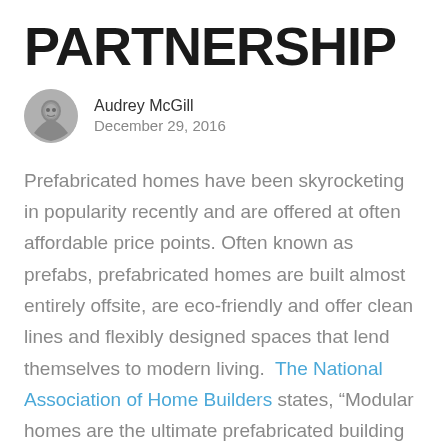PARTNERSHIP
[Figure (photo): Circular avatar photo of author Audrey McGill, a woman smiling, black and white photo]
Audrey McGill
December 29, 2016
Prefabricated homes have been skyrocketing in popularity recently and are offered at often affordable price points. Often known as prefabs, prefabricated homes are built almost entirely offsite, are eco-friendly and offer clean lines and flexibly designed spaces that lend themselves to modern living.  The National Association of Home Builders states, “Modular homes are the ultimate prefabricated building system. These highly customizable, environmentally-friendly homes are